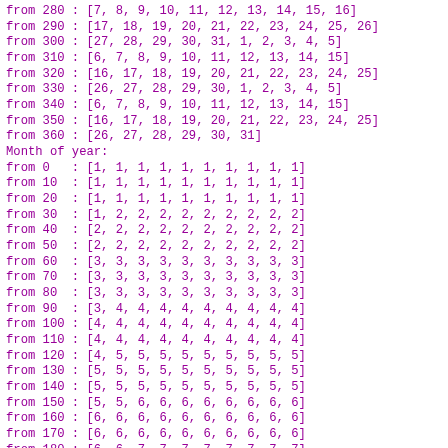from 280 : [7, 8, 9, 10, 11, 12, 13, 14, 15, 16]
from 290 : [17, 18, 19, 20, 21, 22, 23, 24, 25, 26]
from 300 : [27, 28, 29, 30, 31, 1, 2, 3, 4, 5]
from 310 : [6, 7, 8, 9, 10, 11, 12, 13, 14, 15]
from 320 : [16, 17, 18, 19, 20, 21, 22, 23, 24, 25]
from 330 : [26, 27, 28, 29, 30, 1, 2, 3, 4, 5]
from 340 : [6, 7, 8, 9, 10, 11, 12, 13, 14, 15]
from 350 : [16, 17, 18, 19, 20, 21, 22, 23, 24, 25]
from 360 : [26, 27, 28, 29, 30, 31]
Month of year:
from 0 : [1, 1, 1, 1, 1, 1, 1, 1, 1, 1]
from 10 : [1, 1, 1, 1, 1, 1, 1, 1, 1, 1]
from 20 : [1, 1, 1, 1, 1, 1, 1, 1, 1, 1]
from 30 : [1, 2, 2, 2, 2, 2, 2, 2, 2, 2]
from 40 : [2, 2, 2, 2, 2, 2, 2, 2, 2, 2]
from 50 : [2, 2, 2, 2, 2, 2, 2, 2, 2, 2]
from 60 : [3, 3, 3, 3, 3, 3, 3, 3, 3, 3]
from 70 : [3, 3, 3, 3, 3, 3, 3, 3, 3, 3]
from 80 : [3, 3, 3, 3, 3, 3, 3, 3, 3, 3]
from 90 : [3, 4, 4, 4, 4, 4, 4, 4, 4, 4]
from 100 : [4, 4, 4, 4, 4, 4, 4, 4, 4, 4]
from 110 : [4, 4, 4, 4, 4, 4, 4, 4, 4, 4]
from 120 : [4, 5, 5, 5, 5, 5, 5, 5, 5, 5]
from 130 : [5, 5, 5, 5, 5, 5, 5, 5, 5, 5]
from 140 : [5, 5, 5, 5, 5, 5, 5, 5, 5, 5]
from 150 : [5, 5, 6, 6, 6, 6, 6, 6, 6, 6]
from 160 : [6, 6, 6, 6, 6, 6, 6, 6, 6, 6]
from 170 : [6, 6, 6, 6, 6, 6, 6, 6, 6, 6]
from 180 : [6, 6, 7, 7, 7, 7, 7, 7, 7, 7]
from 190 : [7, 7, 7, 7, 7, 7, 7, 7, 7, 7]
from 200 : [7, 7, 7, 7, 7, 7, 7, 7, 7, 7]